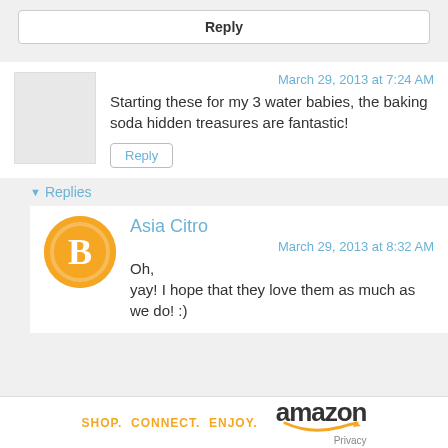Reply
March 29, 2013 at 7:24 AM
Starting these for my 3 water babies, the baking soda hidden treasures are fantastic!
Reply
Replies
Asia Citro
March 29, 2013 at 8:32 AM
Oh, yay! I hope that they love them as much as we do! :)
[Figure (logo): Amazon logo with tagline: SHOP. CONNECT. ENJOY. and Privacy text]